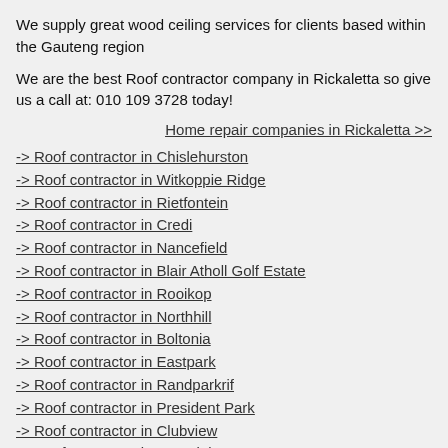We supply great wood ceiling services for clients based within the Gauteng region
We are the best Roof contractor company in Rickaletta so give us a call at: 010 109 3728 today!
Home repair companies in Rickaletta >>
-> Roof contractor in Chislehurston
-> Roof contractor in Witkoppie Ridge
-> Roof contractor in Rietfontein
-> Roof contractor in Credi
-> Roof contractor in Nancefield
-> Roof contractor in Blair Atholl Golf Estate
-> Roof contractor in Rooikop
-> Roof contractor in Northhill
-> Roof contractor in Boltonia
-> Roof contractor in Eastpark
-> Roof contractor in Randparkrif
-> Roof contractor in President Park
-> Roof contractor in Clubview
-> Roof contractor in Armadale
-> Roof contractor in Prolecon
-> Roof contractor in Meyersdal
-> Roof contractor in Franklin Eagles
-> Roof contractor in Monolei